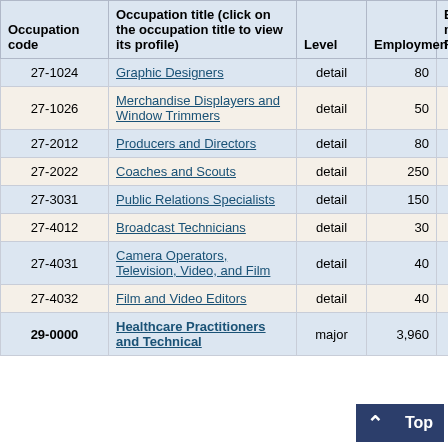| Occupation code | Occupation title (click on the occupation title to view its profile) | Level | Employment | Employment RSE |
| --- | --- | --- | --- | --- |
| 27-1024 | Graphic Designers | detail | 80 | 7 |
| 27-1026 | Merchandise Displayers and Window Trimmers | detail | 50 | 21 |
| 27-2012 | Producers and Directors | detail | 80 | 11 |
| 27-2022 | Coaches and Scouts | detail | 250 | 9 |
| 27-3031 | Public Relations Specialists | detail | 150 | 17 |
| 27-4012 | Broadcast Technicians | detail | 30 | 9 |
| 27-4031 | Camera Operators, Television, Video, and Film | detail | 40 | 15 |
| 27-4032 | Film and Video Editors | detail | 40 | 28 |
| 29-0000 | Healthcare Practitioners and Technical | major | 3,960 | 1 |